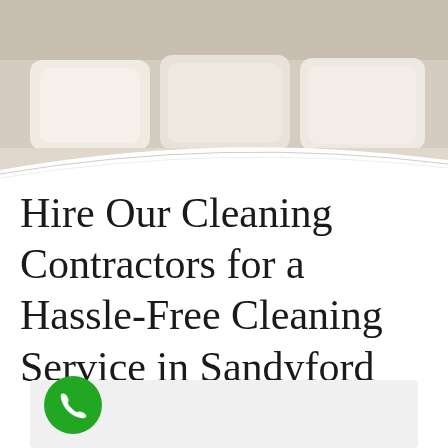[Figure (photo): Bedroom scene with white pillows and bedding against a light background]
Hire Our Cleaning Contractors for a Hassle-Free Cleaning Service in Sandyford
[Figure (other): Green circular phone/call button icon with white telephone handset symbol]